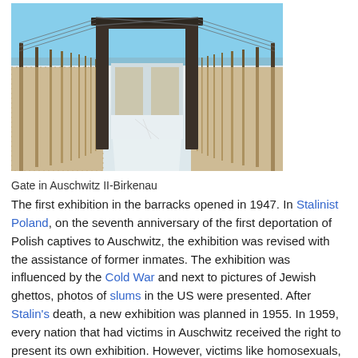[Figure (photo): A snow-covered gate and entrance pathway at Auschwitz II-Birkenau concentration camp in winter, with fence posts and barbed wire visible on both sides stretching into the distance under a clear blue sky.]
Gate in Auschwitz II-Birkenau
The first exhibition in the barracks opened in 1947. In Stalinist Poland, on the seventh anniversary of the first deportation of Polish captives to Auschwitz, the exhibition was revised with the assistance of former inmates. The exhibition was influenced by the Cold War and next to pictures of Jewish ghettos, photos of slums in the US were presented. After Stalin's death, a new exhibition was planned in 1955. In 1959, every nation that had victims in Auschwitz received the right to present its own exhibition. However, victims like homosexuals, Jehovah's Witnesses, Sinti and Roma, and